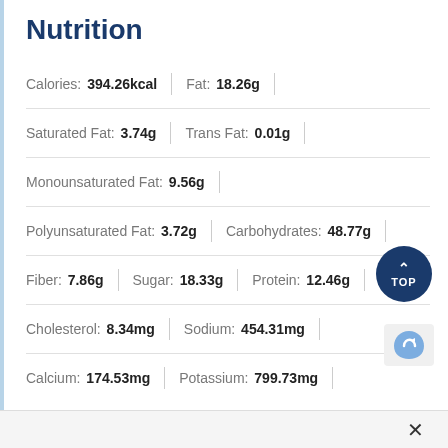Nutrition
Calories: 394.26kcal | Fat: 18.26g
Saturated Fat: 3.74g | Trans Fat: 0.01g
Monounsaturated Fat: 9.56g
Polyunsaturated Fat: 3.72g | Carbohydrates: 48.77g
Fiber: 7.86g | Sugar: 18.33g | Protein: 12.46g
Cholesterol: 8.34mg | Sodium: 454.31mg
Calcium: 174.53mg | Potassium: 799.73mg